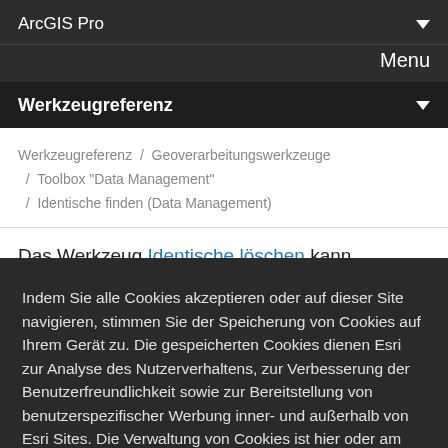ArcGIS Pro
Menu
Werkzeugreferenz
Werkzeugreferenz / Geoverarbeitungswerkzeuge / Toolbox "Data Management" / Identische finden (Data Management)
Das Werkzeug Identische löschen kann verwendet werden, um identische Datensätze zu suchen und zu
Indem Sie alle Cookies akzeptieren oder auf dieser Site navigieren, stimmen Sie der Speicherung von Cookies auf Ihrem Gerät zu. Die gespeicherten Cookies dienen Esri zur Analyse des Nutzerverhaltens, zur Verbesserung der Benutzerfreundlichkeit sowie zur Bereitstellung von benutzerspezifischer Werbung inner- und außerhalb von Esri Sites. Die Verwaltung von Cookies ist hier oder am Ende jeder Webseite möglich.